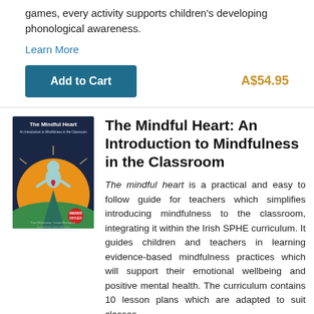games, every activity supports children's developing phonological awareness.
Learn More
Add to Cart   A$54.95
The Mindful Heart: An Introduction to Mindfulness in the Classroom
[Figure (illustration): Book cover of 'The Mindful Heart: An Introduction to Mindfulness in the Classroom', showing a meditating figure with a heart, a sunrise, and green landscape on a dark background.]
The mindful heart is a practical and easy to follow guide for teachers which simplifies introducing mindfulness to the classroom, integrating it within the Irish SPHE curriculum. It guides children and teachers in learning evidence-based mindfulness practices which will support their emotional wellbeing and positive mental health. The curriculum contains 10 lesson plans which are adapted to suit classes